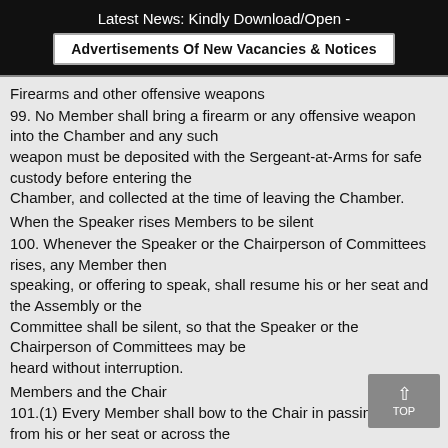Latest News: Kindly Download/Open -
Advertisements Of New Vacancies & Notices
Firearms and other offensive weapons
99. No Member shall bring a firearm or any offensive weapon into the Chamber and any such weapon must be deposited with the Sergeant-at-Arms for safe custody before entering the Chamber, and collected at the time of leaving the Chamber.
When the Speaker rises Members to be silent
100. Whenever the Speaker or the Chairperson of Committees rises, any Member then speaking, or offering to speak, shall resume his or her seat and the Assembly or the Committee shall be silent, so that the Speaker or the Chairperson of Committees may be heard without interruption.
Members and the Chair
101.(1) Every Member shall bow to the Chair in passing to or from his or her seat or across the Floor of the Assembly but, a Member may show respect in any other manner consistent with the Member's faith and with the dignity of the Assembly.